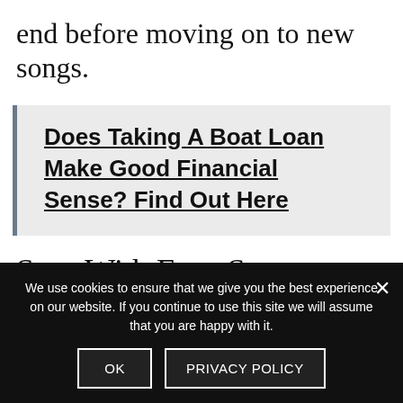end before moving on to new songs.
Does Taking A Boat Loan Make Good Financial Sense? Find Out Here
Start With Easy Songs
If you’re a beginner, you should start off with learning very easy songs. It’s
We use cookies to ensure that we give you the best experience on our website. If you continue to use this site we will assume that you are happy with it.